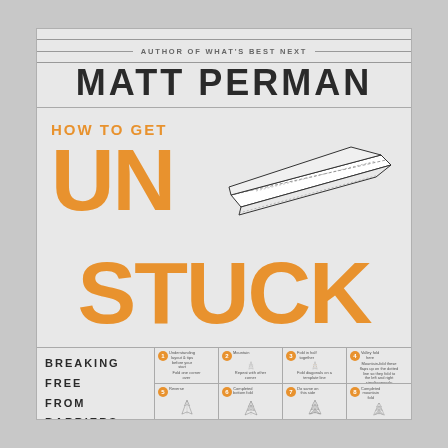AUTHOR OF WHAT'S BEST NEXT
MATT PERMAN
HOW TO GET
UNSTUCK
[Figure (illustration): Line drawing of a paper airplane folded from paper, shown in profile view from above-side angle]
BREAKING FREE FROM BARRIERS — TO —
[Figure (illustration): Eight-step origami/paper airplane folding instructions shown in a 2x4 grid with numbered steps and small diagrams]